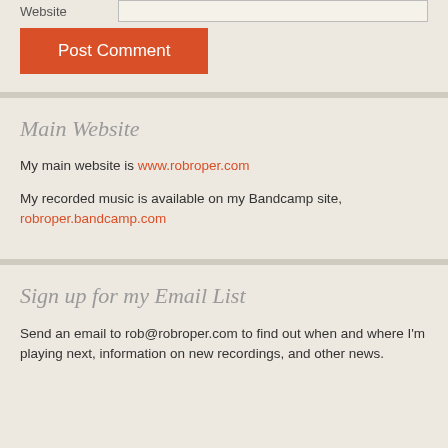Website
Main Website
My main website is www.robroper.com
My recorded music is available on my Bandcamp site, robroper.bandcamp.com
Sign up for my Email List
Send an email to rob@robroper.com to find out when and where I'm playing next, information on new recordings, and other news.